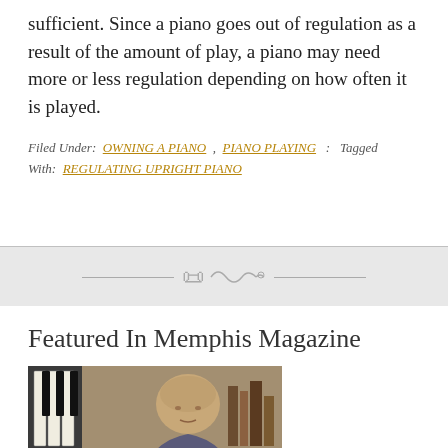sufficient. Since a piano goes out of regulation as a result of the amount of play, a piano may need more or less regulation depending on how often it is played.
Filed Under: OWNING A PIANO , PIANO PLAYING : Tagged With: REGULATING UPRIGHT PIANO
[Figure (illustration): Decorative ornamental divider with scrollwork]
Featured In Memphis Magazine
[Figure (photo): Photo of a bald man seated at or near a piano with piano keys visible on the left side]